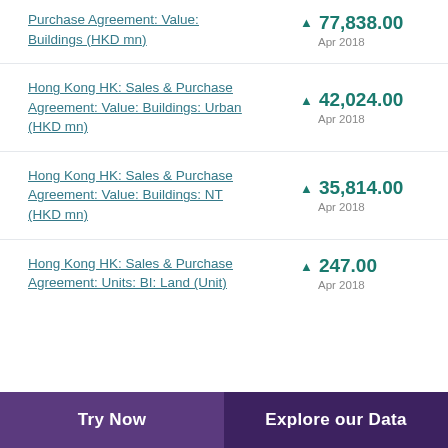Purchase Agreement: Value: Buildings (HKD mn)
Hong Kong HK: Sales & Purchase Agreement: Value: Buildings: Urban (HKD mn)
Hong Kong HK: Sales & Purchase Agreement: Value: Buildings: NT (HKD mn)
Hong Kong HK: Sales & Purchase Agreement: Units: BI: Land (Unit)
Try Now | Explore our Data